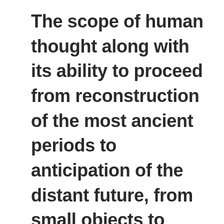The scope of human thought along with its ability to proceed from reconstruction of the most ancient periods to anticipation of the distant future, from small objects to galaxies and the Universe as well as, to embrace different trends and dimensions of